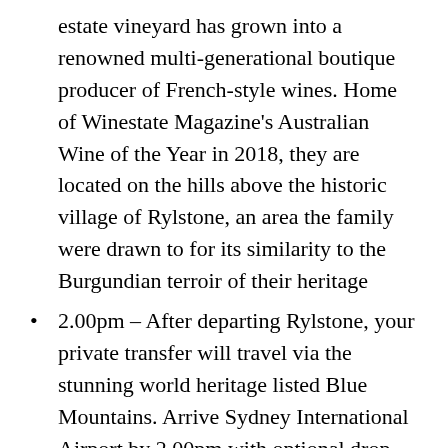estate vineyard has grown into a renowned multi-generational boutique producer of French-style wines. Home of Winestate Magazine's Australian Wine of the Year in 2018, they are located on the hills above the historic village of Rylstone, an area the family were drawn to for its similarity to the Burgundian terroir of their heritage
2.00pm – After departing Rylstone, your private transfer will travel via the stunning world heritage listed Blue Mountains. Arrive Sydney International Airport by 2.00pm with optional drop-off in Sydney CBD at 2.45pm.